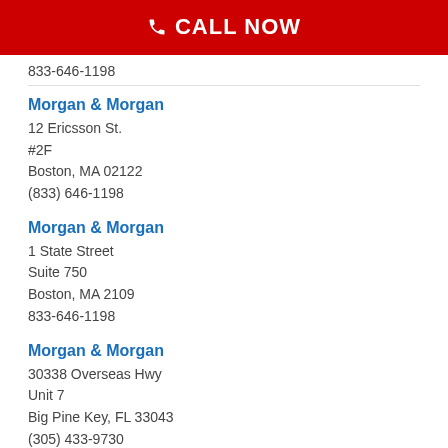[Figure (screenshot): Red 'CALL NOW' button with phone icon]
833-646-1198
Morgan & Morgan
12 Ericsson St.
#2F
Boston, MA 02122
(833) 646-1198
Morgan & Morgan
1 State Street
Suite 750
Boston, MA 2109
833-646-1198
Morgan & Morgan
30338 Overseas Hwy
Unit 7
Big Pine Key, FL 33043
(305) 433-9730
Morgan & Morgan